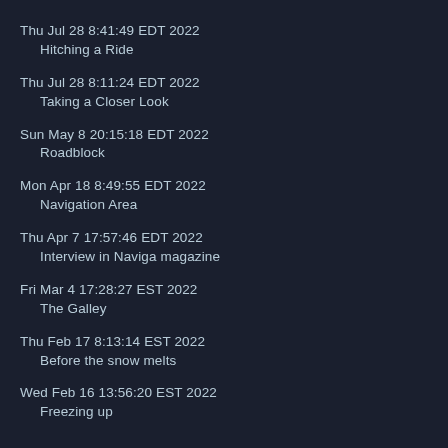Thu Jul 28 8:41:49 EDT 2022
    Hitching a Ride
Thu Jul 28 8:11:24 EDT 2022
    Taking a Closer Look
Sun May 8 20:15:18 EDT 2022
    Roadblock
Mon Apr 18 8:49:55 EDT 2022
    Navigation Area
Thu Apr 7 17:57:46 EDT 2022
    Interview in Naviga magazine
Fri Mar 4 17:28:27 EST 2022
    The Galley
Thu Feb 17 8:13:14 EST 2022
    Before the snow melts
Wed Feb 16 13:56:20 EST 2022
    Freezing up